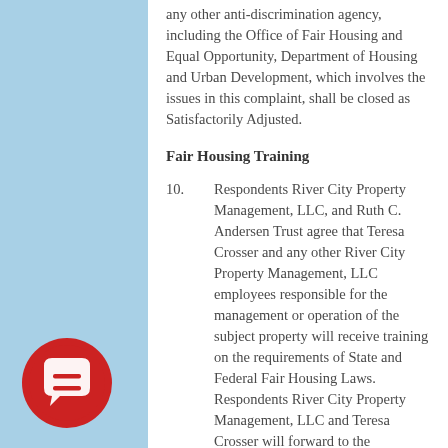any other anti-discrimination agency, including the Office of Fair Housing and Equal Opportunity, Department of Housing and Urban Development, which involves the issues in this complaint, shall be closed as Satisfactorily Adjusted.
Fair Housing Training
10. Respondents River City Property Management, LLC, and Ruth C. Andersen Trust agree that Teresa Crosser and any other River City Property Management, LLC employees responsible for the management or operation of the subject property will receive training on the requirements of State and Federal Fair Housing Laws. Respondents River City Property Management, LLC and Teresa Crosser will forward to the
[Figure (logo): Red circular logo with a chat bubble and equals sign inside, white on red background]